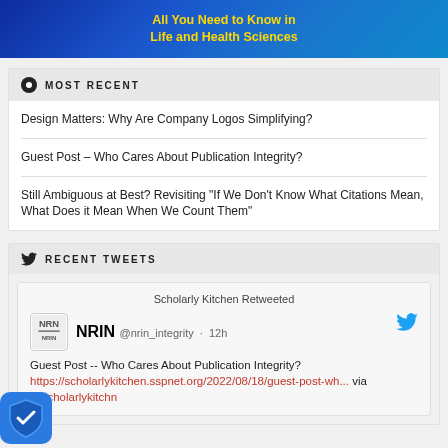[Figure (illustration): Blue gradient banner with yellow bold text reading 'All You Need to Know in Life and Health Sciences']
MOST RECENT
Design Matters: Why Are Company Logos Simplifying?
Guest Post – Who Cares About Publication Integrity?
Still Ambiguous at Best? Revisiting "If We Don't Know What Citations Mean, What Does it Mean When We Count Them"
RECENT TWEETS
Scholarly Kitchen Retweeted
NRIN @nrin_integrity · 12h
Guest Post -- Who Cares About Publication Integrity? https://scholarlykitchen.sspnet.org/2022/08/18/guest-post-wh... via @scholarlykitchn